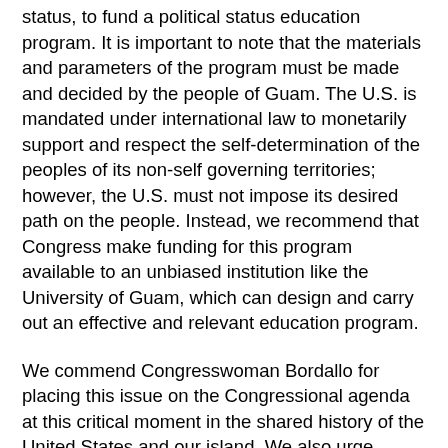status, to fund a political status education program. It is important to note that the materials and parameters of the program must be made and decided by the people of Guam. The U.S. is mandated under international law to monetarily support and respect the self-determination of the peoples of its non-self governing territories; however, the U.S. must not impose its desired path on the people. Instead, we recommend that Congress make funding for this program available to an unbiased institution like the University of Guam, which can design and carry out an effective and relevant education program.
We commend Congresswoman Bordallo for placing this issue on the Congressional agenda at this critical moment in the shared history of the United States and our island. We also urge Congresswoman Bordallo and all members of the Committee on Natural Resources to take every opportunity to impress upon all members of Congress the essential links between any plan for increased militarization of our island and the unresolved issue of political status.
In his 2008 campaign, President Barack Obama committed to supporting "full self-government and self-determination for...